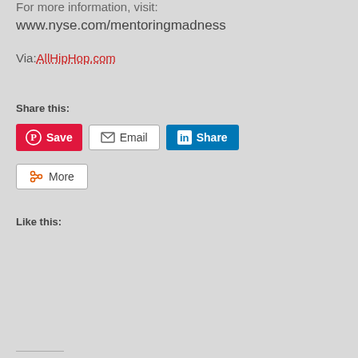For more information, visit:
www.nyse.com/mentoringmadness
Via: AllHipHop.com
Share this:
[Figure (other): Social share buttons: Pinterest Save, Email, LinkedIn Share, More]
Like this: